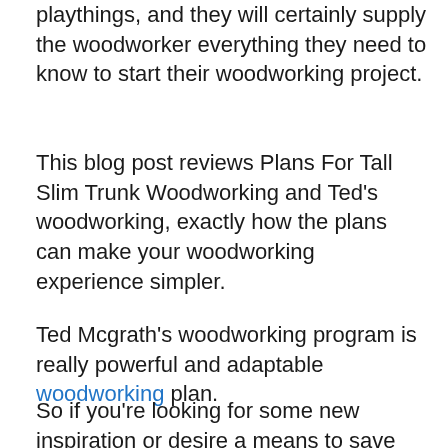playthings, and they will certainly supply the woodworker everything they need to know to start their woodworking project.
This blog post reviews Plans For Tall Slim Trunk Woodworking and Ted's woodworking, exactly how the plans can make your woodworking experience simpler.
Ted Mcgrath's woodworking program is really powerful and adaptable woodworking plan.
So if you're looking for some new inspiration or desire a means to save time when constructing something, be sure to